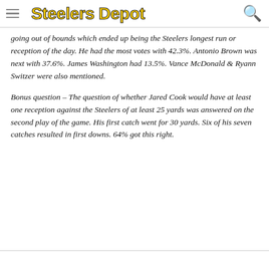Steelers Depot
going out of bounds which ended up being the Steelers longest run or reception of the day. He had the most votes with 42.3%. Antonio Brown was next with 37.6%. James Washington had 13.5%. Vance McDonald & Ryann Switzer were also mentioned.
Bonus question – The question of whether Jared Cook would have at least one reception against the Steelers of at least 25 yards was answered on the second play of the game. His first catch went for 30 yards. Six of his seven catches resulted in first downs. 64% got this right.